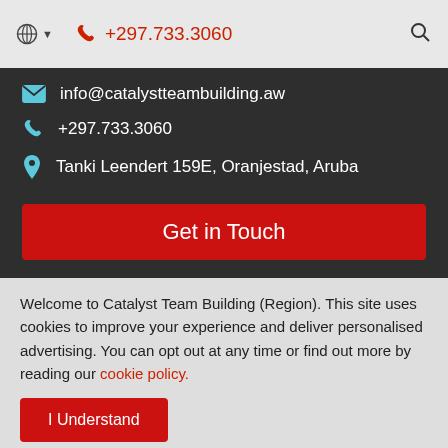🌐 ▾   📞 +297.733.3060   🔍
✉ info@catalystteambuilding.aw
📞 +297.733.3060
📍 Tanki Leendert 159E, Oranjestad, Aruba
Get in Touch
Welcome to Catalyst Team Building (Region). This site uses cookies to improve your experience and deliver personalised advertising. You can opt out at any time or find out more by reading our cookie policy.
I Understand
Copyright © 2022 Catalyst Limited